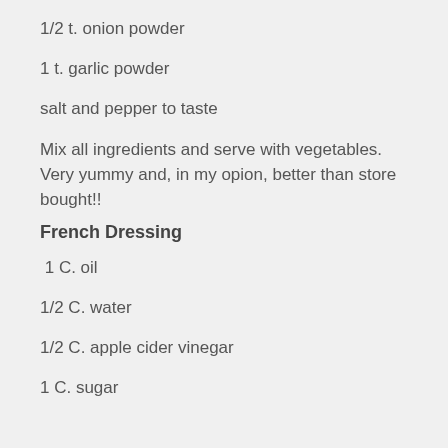1/2 t. onion powder
1 t. garlic powder
salt and pepper to taste
Mix all ingredients and serve with vegetables.  Very yummy and, in my opion, better than store bought!!
French Dressing
1 C. oil
1/2 C. water
1/2 C. apple cider vinegar
1 C. sugar